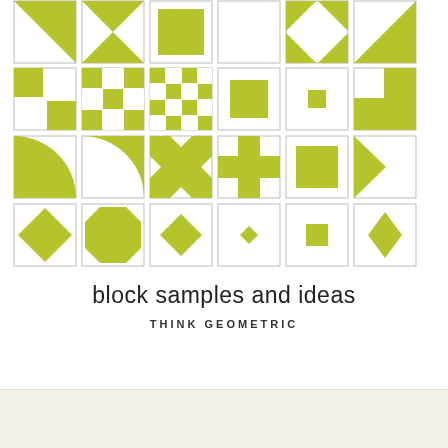[Figure (illustration): A 4-row grid of 6 geometric quilt block pattern samples each. Row 1: diagonal/triangle patterns. Row 2: checkerboard and square patterns. Row 3: curved and cross patterns. Row 4: diamond/rotated square patterns in varying sizes. All shapes are yellow-green (chartreuse) on white with thin gray borders.]
block samples and ideas
THINK GEOMETRIC